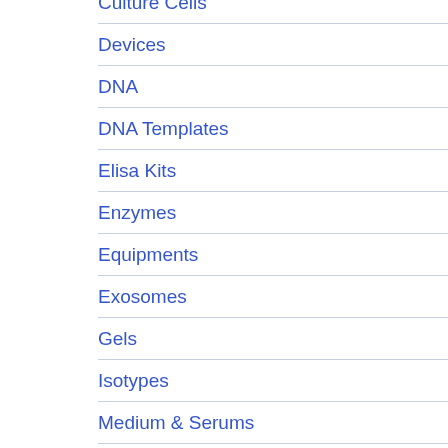Culture Cells
Devices
DNA
DNA Templates
Elisa Kits
Enzymes
Equipments
Exosomes
Gels
Isotypes
Medium & Serums
NATtrol
Panel